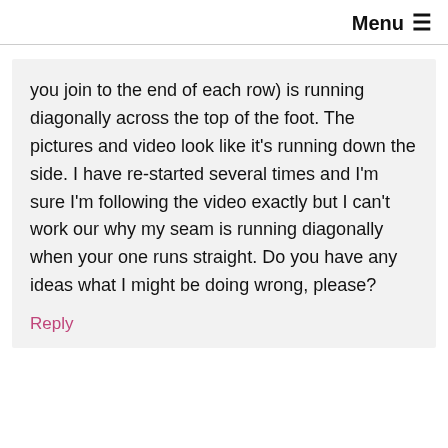Menu ≡
you join to the end of each row) is running diagonally across the top of the foot. The pictures and video look like it's running down the side. I have re-started several times and I'm sure I'm following the video exactly but I can't work our why my seam is running diagonally when your one runs straight. Do you have any ideas what I might be doing wrong, please?
Reply